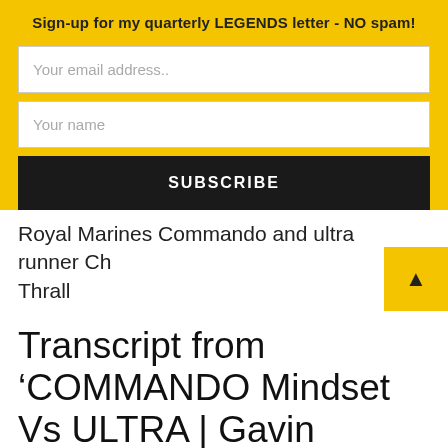Sign-up for my quarterly LEGENDS letter - NO spam!
Your email address..
Your name
SUBSCRIBE
Royal Marines Commando and ultra runner Ch Thrall
Transcript from 'COMMANDO Mindset Vs ULTRA | Gavin Boyter & Aradhna Tayal Talk Running With Royal Marine Chris Thrall'